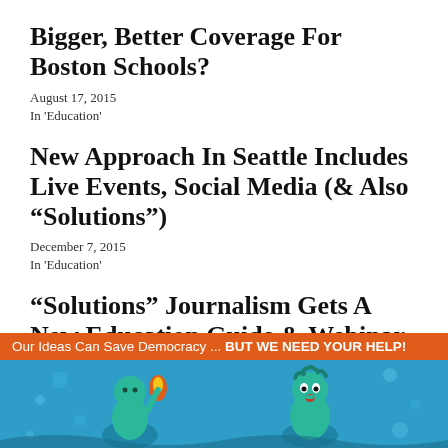Bigger, Better Coverage For Boston Schools?
August 17, 2015
In 'Education'
New Approach In Seattle Includes Live Events, Social Media (& Also “Solutions”)
December 7, 2015
In 'Education'
“Solutions” Journalism Gets A New Education Guide & Webinar
October 7, 2015
In 'Education'
[Figure (illustration): Promotional banner with orange header bar reading 'Our Ideas Can Save Democracy ... BUT WE NEED YOUR HELP!' and an illustrated cartoon scene with teal/blue background showing cartoon figures including a person with orange flame and a surprised-looking teal character.]